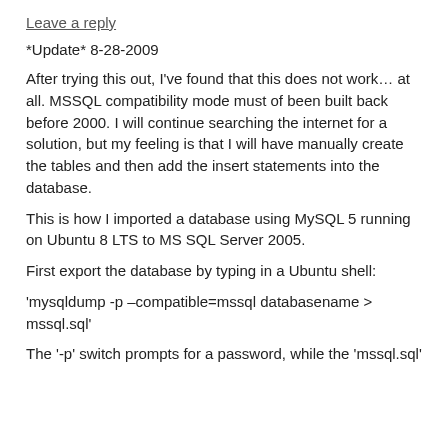Leave a reply
*Update* 8-28-2009
After trying this out, I've found that this does not work... at all. MSSQL compatibility mode must of been built back before 2000. I will continue searching the internet for a solution, but my feeling is that I will have manually create the tables and then add the insert statements into the database.
This is how I imported a database using MySQL 5 running on Ubuntu 8 LTS to MS SQL Server 2005.
First export the database by typing in a Ubuntu shell:
'mysqldump -p –compatible=mssql databasename > mssql.sql'
The '-p' switch prompts for a password, while the 'mssql.sql'